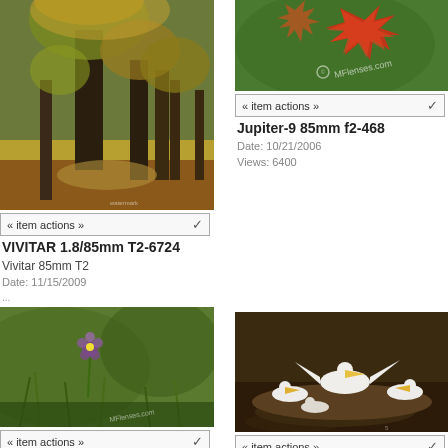[Figure (photo): Autumn park scene with large tree trunks and fallen leaves]
« item actions »
VIVITAR 1.8/85mm T2-6724
Vivitar 85mm T2
Date: 11/15/2009
[Figure (photo): Maple leaf close-up with MFlenses.com watermark on blurred background]
« item actions »
Jupiter-9 85mm f2-468
Date: 10/21/2006
Views: 6400
[Figure (photo): Flower in grass field, bokeh background]
« item actions »
Carl Zeiss Jena Sonnar 135mm f/3.5
[Figure (photo): Pelicans in water]
« item actions »